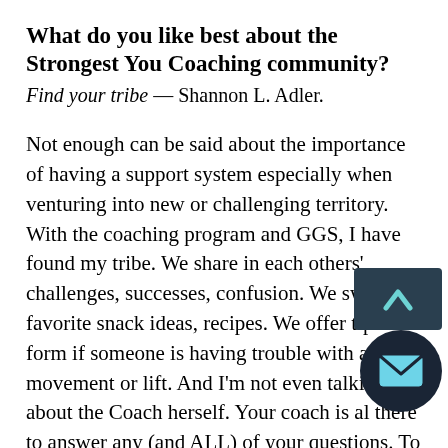What do you like best about the Strongest You Coaching community?
Find your tribe — Shannon L. Adler.
Not enough can be said about the importance of having a support system especially when venturing into new or challenging territory. With the coaching program and GGS, I have found my tribe. We share in each others' challenges, successes, confusion. We swap favorite snack ideas, recipes. We offer tips on form if someone is having trouble with a new movement or lift. And I'm not even talking about the Coach herself. Your coach is always there to answer any (and ALL) of your questions. To help redirect and...